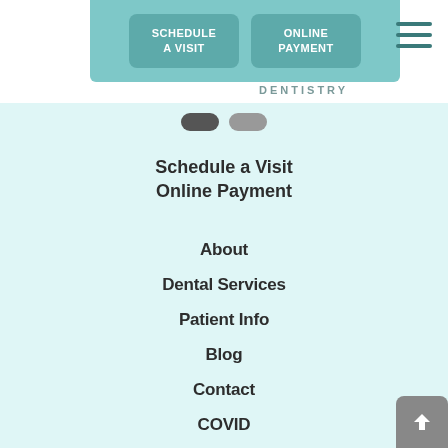[Figure (screenshot): Navigation header with teal background showing two CTA buttons: SCHEDULE A VISIT and ONLINE PAYMENT, and a hamburger menu icon on the right]
DENTISTRY
Schedule a Visit
Online Payment
About
Dental Services
Patient Info
Blog
Contact
COVID